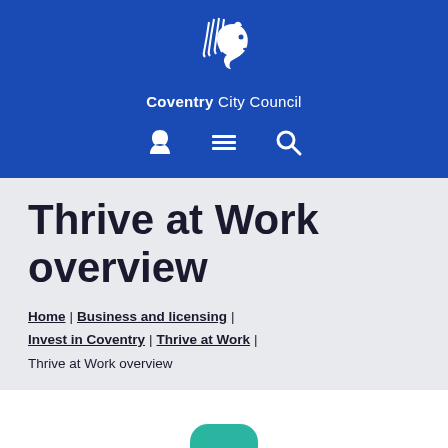[Figure (logo): Coventry City Council logo: white horse illustration with text 'Coventry City Council' in white on blue background, with user, menu, and search icons below]
Thrive at Work overview
Home | Business and licensing | Invest in Coventry | Thrive at Work | Thrive at Work overview